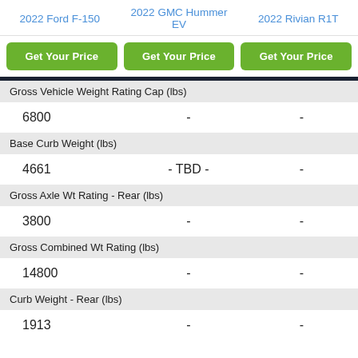2022 Ford F-150   2022 GMC Hummer EV   2022 Rivian R1T
Get Your Price (x3 buttons)
|  | 2022 Ford F-150 | 2022 GMC Hummer EV | 2022 Rivian R1T |
| --- | --- | --- | --- |
| Gross Vehicle Weight Rating Cap (lbs) | 6800 | - | - |
| Base Curb Weight (lbs) | 4661 | - TBD - | - |
| Gross Axle Wt Rating - Rear (lbs) | 3800 | - | - |
| Gross Combined Wt Rating (lbs) | 14800 | - | - |
| Curb Weight - Rear (lbs) | 1913 | - | - |